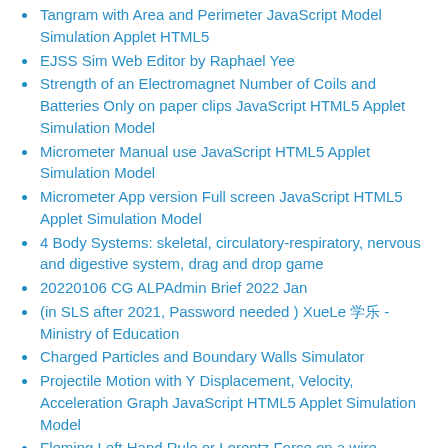Tangram with Area and Perimeter JavaScript Model Simulation Applet HTML5
EJSS Sim Web Editor by Raphael Yee
Strength of an Electromagnet Number of Coils and Batteries Only on paper clips JavaScript HTML5 Applet Simulation Model
Micrometer Manual use JavaScript HTML5 Applet Simulation Model
Micrometer App version Full screen JavaScript HTML5 Applet Simulation Model
4 Body Systems: skeletal, circulatory-respiratory, nervous and digestive system, drag and drop game
20220106 CG ALPAdmin Brief 2022 Jan
(in SLS after 2021, Password needed ) XueLe 学乐 - Ministry of Education
Charged Particles and Boundary Walls Simulator
Projectile Motion with Y Displacement, Velocity, Acceleration Graph JavaScript HTML5 Applet Simulation Model
Fleming Left Hand Rule or Lorentz Force on a wire JavaScript HTML5 Applet Simulation Model
Chapter 2: Round and Round the Merry-Go-Round - The Beauty That Emerges From Rotations Rotational Symmetry JavaScript Simulation Applet HTML5
Projectile Motion with System of Masses and Spring JavaScript HTML5 Applet Simulation Model by Darren Tan
Metallic Conductor and Drift Velocity JavaScript HTML5 Applet